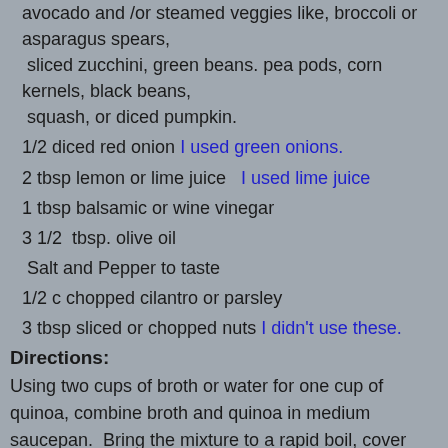avocado and /or steamed veggies like, broccoli or asparagus spears,
 sliced zucchini, green beans. pea pods, corn kernels, black beans,
 squash, or diced pumpkin.
1/2 diced red onion I used green onions.
2 tbsp lemon or lime juice   I used lime juice
1 tbsp balsamic or wine vinegar
3 1/2  tbsp. olive oil
Salt and Pepper to taste
1/2 c chopped cilantro or parsley
3 tbsp sliced or chopped nuts I didn't use these.
Directions:
Using two cups of broth or water for one cup of quinoa, combine broth and quinoa in medium saucepan.  Bring the mixture to a rapid boil, cover and reduce heat to simmer, until quinoa is tender, but still chewy and white spiral-like threads appear around each grain, for about 15 minutes.